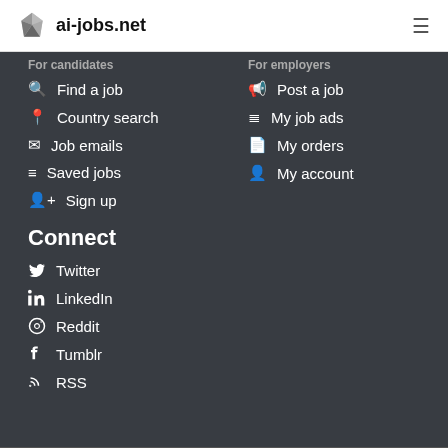ai-jobs.net
For candidates
Find a job
Country search
Job emails
Saved jobs
Sign up
For employers
Post a job
My job ads
My orders
My account
Connect
Twitter
LinkedIn
Reddit
Tumblr
RSS